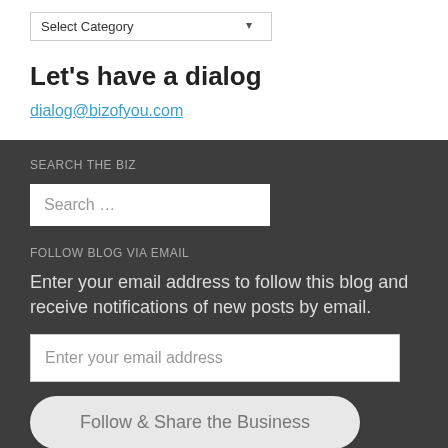Select Category
Let's have a dialog
dialog@bizofyou.com
SEARCH THE BIZ
Search …
FOLLOW BLOG VIA EMAIL
Enter your email address to follow this blog and receive notifications of new posts by email.
Enter your email address
Follow & Share the Business